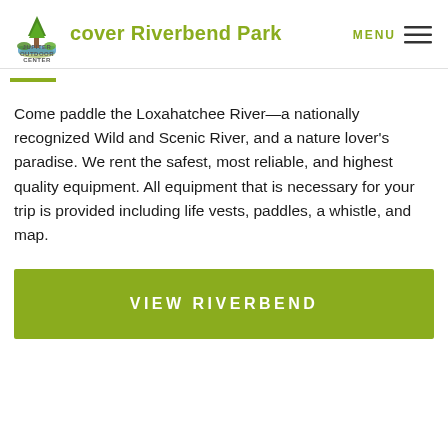Discover Riverbend Park
Come paddle the Loxahatchee River—a nationally recognized Wild and Scenic River, and a nature lover's paradise. We rent the safest, most reliable, and highest quality equipment. All equipment that is necessary for your trip is provided including life vests, paddles, a whistle, and map.
VIEW RIVERBEND